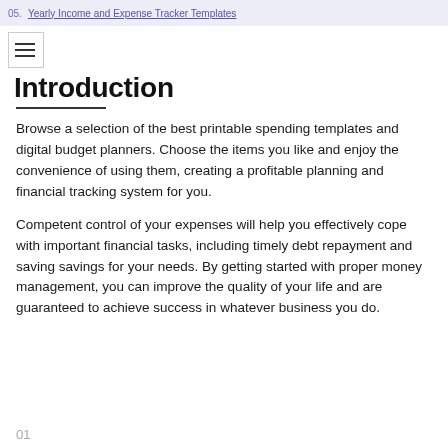05. Yearly Income and Expense Tracker Templates
Introduction
Browse a selection of the best printable spending templates and digital budget planners. Choose the items you like and enjoy the convenience of using them, creating a profitable planning and financial tracking system for you.
Competent control of your expenses will help you effectively cope with important financial tasks, including timely debt repayment and saving savings for your needs. By getting started with proper money management, you can improve the quality of your life and are guaranteed to achieve success in whatever business you do.
01